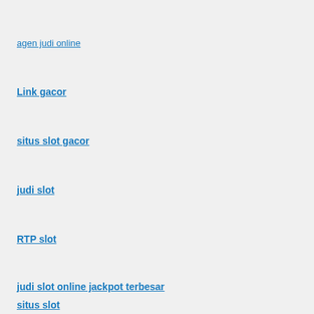agen judi online
Link gacor
situs slot gacor
judi slot
RTP slot
judi slot online jackpot terbesar
situs slot